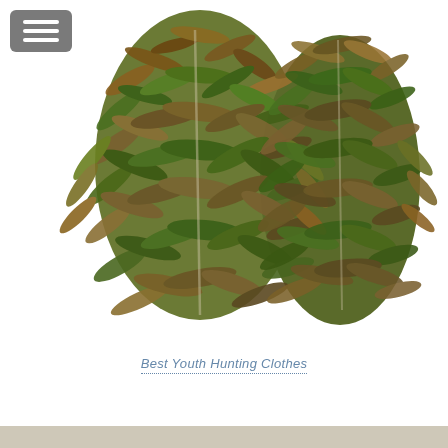[Figure (photo): Two ghillie suits covered in camouflage leaves and foliage, displayed side by side against a white background. The suits are heavily adorned with natural-looking leaf and twig material in browns and greens.]
Best Youth Hunting Clothes